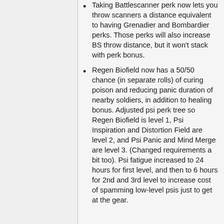Taking Battlescanner perk now lets you throw scanners a distance equivalent to having Grenadier and Bombardier perks. Those perks will also increase BS throw distance, but it won't stack with perk bonus.
Regen Biofield now has a 50/50 chance (in separate rolls) of curing poison and reducing panic duration of nearby soldiers, in addition to healing bonus. Adjusted psi perk tree so Regen Biofield is level 1, Psi Inspiration and Distortion Field are level 2, and Psi Panic and Mind Merge are level 3. (Changed requirements a bit too). Psi fatigue increased to 24 hours for first level, and then to 6 hours for 2nd and 3rd level to increase cost of spamming low-level psis just to get at the gear.